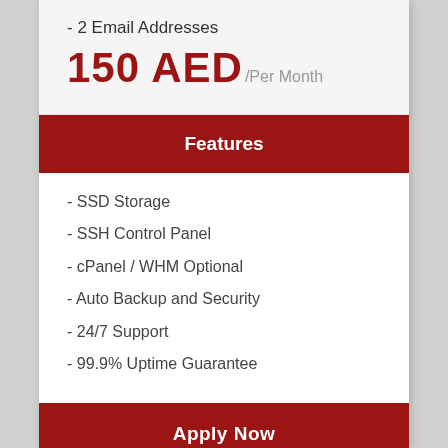- 2 Email Addresses
150 AED /Per Month
Features
- SSD Storage
- SSH Control Panel
- cPanel / WHM Optional
- Auto Backup and Security
- 24/7 Support
- 99.9% Uptime Guarantee
Apply Now